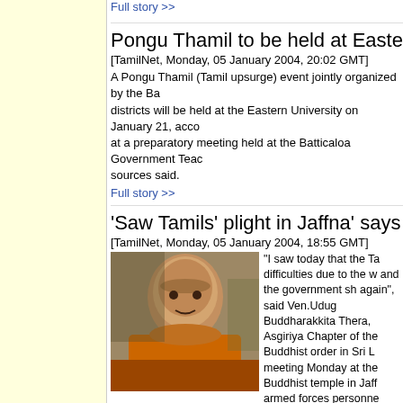Full story >>
Pongu Thamil to be held at Eastern Uni
[TamilNet, Monday, 05 January 2004, 20:02 GMT]
A Pongu Thamil (Tamil upsurge) event jointly organized by the Ba districts will be held at the Eastern University on January 21, acco at a preparatory meeting held at the Batticaloa Government Teach sources said.
Full story >>
'Saw Tamils' plight in Jaffna' says top Bu
[TamilNet, Monday, 05 January 2004, 18:55 GMT]
[Figure (photo): Photo of a Buddhist monk in orange robes]
"I saw today that the Ta difficulties due to the w and the government sh again", said Ven.Udug Buddharakkita Thera, Asgiriya Chapter of the Buddhist order in Sri L meeting Monday at the Buddhist temple in Jaff armed forces personne worship.
Full story >>
SLA officer threatens to shoot Jaffna jou
[TamilNet, Monday, 05 January 2004, 06:07 GMT]
Jaffna journalists Monday refused to cover the visit of two senior northern peninsula after a Sri Lanka army officer threatened to sh Thavachelvam, a leading local correspondent for Sri Lankan and
Full story >>
Kaluwanchikudy patients face crisis due